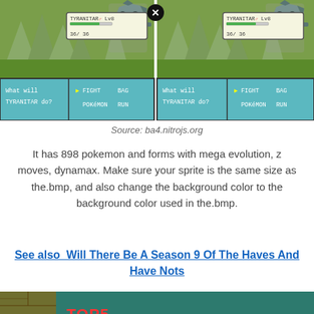[Figure (screenshot): Pokemon game battle screenshot split into two panels showing TYRANITAR at Lv8 with HP 36/36, battle menu with FIGHT BAG POKEMON RUN options. Text 'What will TYRANITAR do?' shown in both panels. A close/X button in center.]
Source: ba4.nitrojs.org
It has 898 pokemon and forms with mega evolution, z moves, dynamax. Make sure your sprite is the same size as the.bmp, and also change the background color to the background color used in the.bmp.
See also  Will There Be A Season 9 Of The Haves And Have Nots
[Figure (screenshot): Pokemon ROM hacks promotional image showing 'TOP5' label in red, 'POKEMON' in large cyan letters with white outline, 'ROM HACKS' text below, brick wall and water background. pokeharbor.com watermark. Scroll up arrow button.]